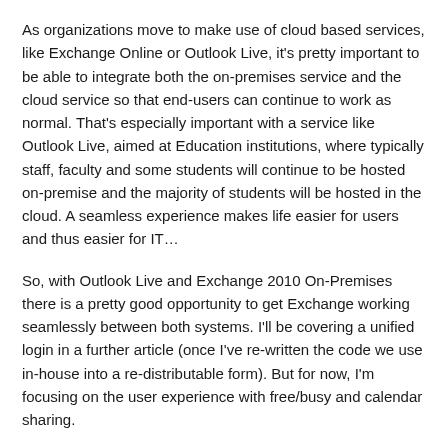As organizations move to make use of cloud based services, like Exchange Online or Outlook Live, it's pretty important to be able to integrate both the on-premises service and the cloud service so that end-users can continue to work as normal. That's especially important with a service like Outlook Live, aimed at Education institutions, where typically staff, faculty and some students will continue to be hosted on-premise and the majority of students will be hosted in the cloud. A seamless experience makes life easier for users and thus easier for IT…
So, with Outlook Live and Exchange 2010 On-Premises there is a pretty good opportunity to get Exchange working seamlessly between both systems. I'll be covering a unified login in a further article (once I've re-written the code we use in-house into a re-distributable form). But for now, I'm focusing on the user experience with free/busy and calendar sharing.
One of the areas users might expect to